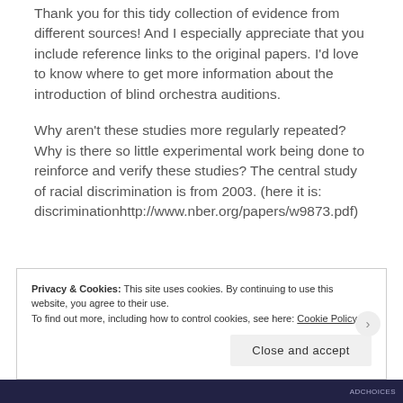Thank you for this tidy collection of evidence from different sources! And I especially appreciate that you include reference links to the original papers. I'd love to know where to get more information about the introduction of blind orchestra auditions.
Why aren't these studies more regularly repeated? Why is there so little experimental work being done to reinforce and verify these studies? The central study of racial discrimination is from 2003. (here it is: discriminationhttp://www.nber.org/papers/w9873.pdf)
Privacy & Cookies: This site uses cookies. By continuing to use this website, you agree to their use. To find out more, including how to control cookies, see here: Cookie Policy
Close and accept